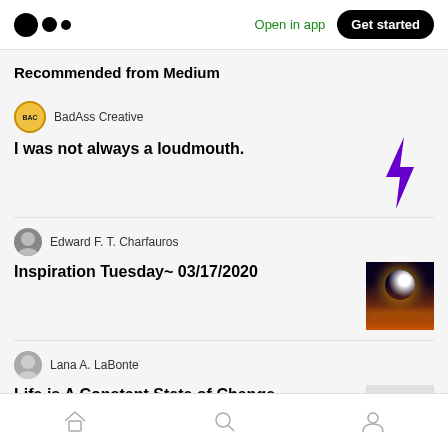Open in app | Get started
Recommended from Medium
BadAss Creative
I was not always a loudmouth.
Edward F. T. Charfauros
Inspiration Tuesday~ 03/17/2020
Lana A. LaBonte
Life is A Constant State of Change
Wasim Khan in The Zerone
Home | Search | Profile